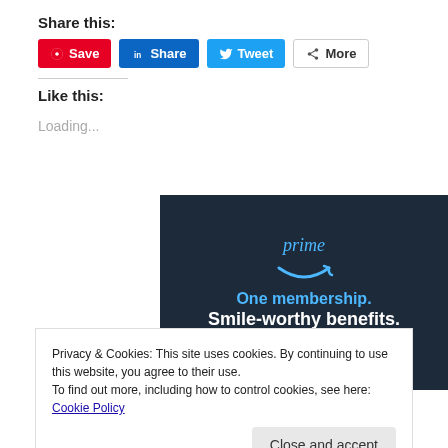Share this:
[Figure (screenshot): Social sharing buttons: Save (Pinterest, red), Share (LinkedIn, blue), Tweet (Twitter, teal), More (grey outline)]
Like this:
Loading...
[Figure (illustration): Amazon Prime advertisement: dark navy background with 'prime' in blue italic text, Amazon smile arrow logo in blue, 'One membership.' in blue bold, 'Smile-worthy benefits.' in white bold, 'Give the gift of Prime ▸' in white]
Privacy & Cookies: This site uses cookies. By continuing to use this website, you agree to their use.
To find out more, including how to control cookies, see here: Cookie Policy
Close and accept